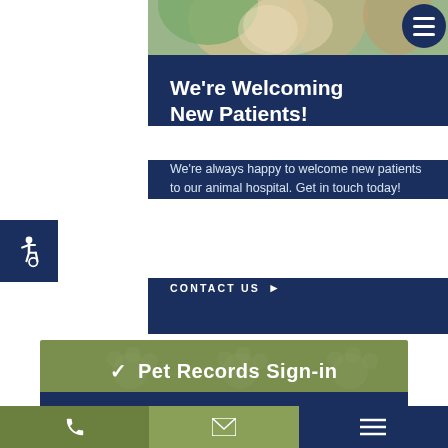[Figure (photo): Animal photo strip at top showing a dog and plant]
We're Welcoming New Patients!
We're always happy to welcome new patients to our animal hospital. Get in touch today!
CONTACT US ▶
[Figure (illustration): Accessibility icon on dark blue background]
✔ Pet Records Sign-in
[Figure (screenshot): Bottom navigation bar with phone, email, and menu icons]